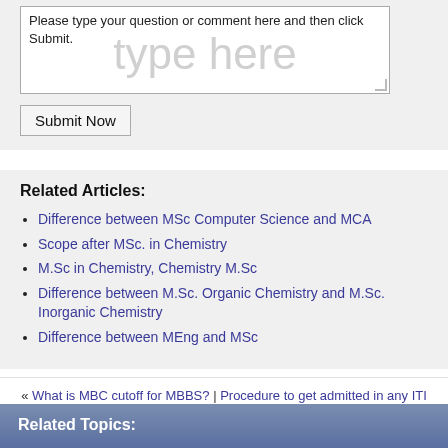Please type your question or comment here and then click Submit.
Submit Now
Related Articles:
Difference between MSc Computer Science and MCA
Scope after MSc. in Chemistry
M.Sc in Chemistry, Chemistry M.Sc
Difference between M.Sc. Organic Chemistry and M.Sc. Inorganic Chemistry
Difference between MEng and MSc
« What is MBC cutoff for MBBS? | Procedure to get admitted in any ITI college? I have scored below 60% in 10th class »
Related Topics: